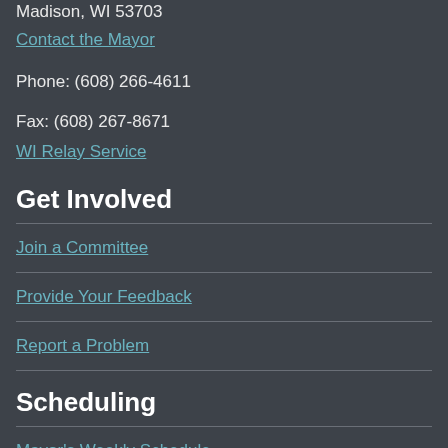Madison, WI 53703
Contact the Mayor
Phone: (608) 266-4611
Fax: (608) 267-8671
WI Relay Service
Get Involved
Join a Committee
Provide Your Feedback
Report a Problem
Scheduling
Mayor's Weekly Schedule
Scheduling Requests